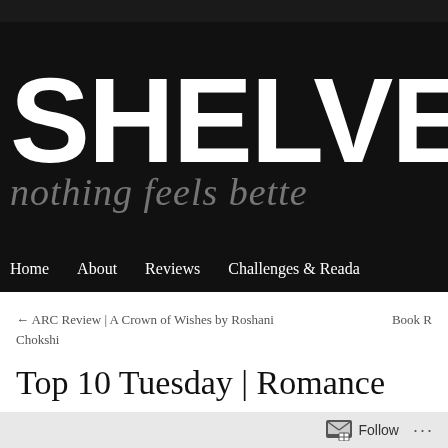[Figure (logo): Blog header banner with black background. Large white bold text reads 'SHELVES' with italic grey script overlay reading 'nothing feels bette' (cut off). Navigation bar below with white text links: Home, About, Reviews, Challenges & Reada]
Home   About   Reviews   Challenges & Reada
← ARC Review | A Crown of Wishes by Roshani Chokshi    Book R
Top 10 Tuesday | Romance
Follow   ...